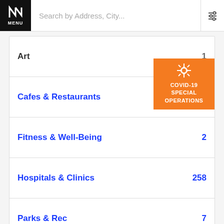MENU | Search by Address, City...
Art  1
Cafes & Restaurants
[Figure (infographic): COVID-19 SPECIAL OPERATIONS orange badge with virus icon]
Fitness & Well-Being  2
Hospitals & Clinics  258
Parks & Rec  7
Schools  161
Services  5
Shopping  12